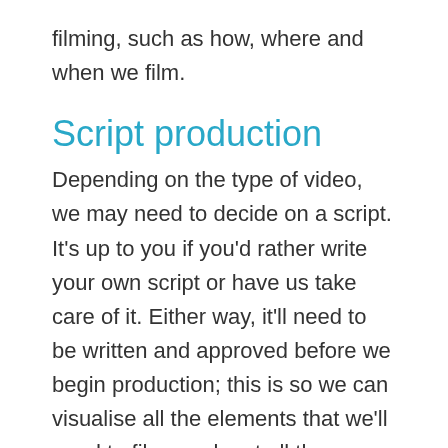filming, such as how, where and when we film.
Script production
Depending on the type of video, we may need to decide on a script. It's up to you if you'd rather write your own script or have us take care of it. Either way, it'll need to be written and approved before we begin production; this is so we can visualise all the elements that we'll need to film, work out all the locations, any props or